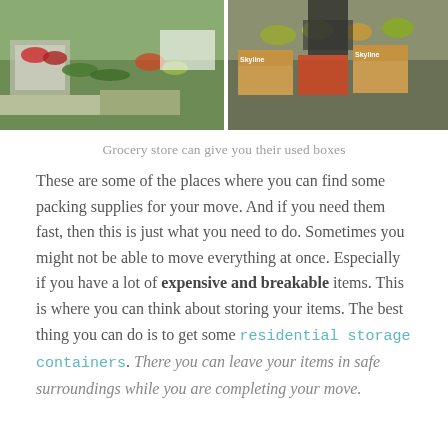[Figure (photo): Two grocery store photos side by side showing produce displays with vegetables and cardboard boxes, including boxes labeled Skyline]
Grocery store can give you their used boxes
These are some of the places where you can find some packing supplies for your move. And if you need them fast, then this is just what you need to do. Sometimes you might not be able to move everything at once. Especially if you have a lot of expensive and breakable items. This is where you can think about storing your items. The best thing you can do is to get some residential storage containers. There you can leave your items in safe surroundings while you are completing your move.